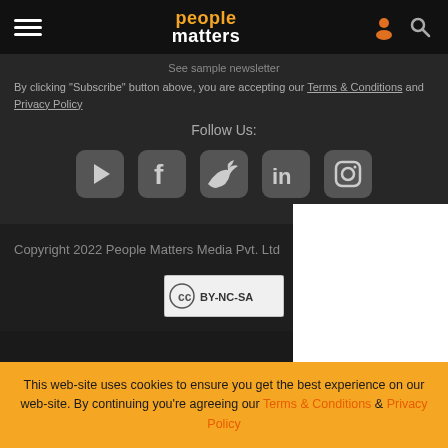people matters
See sample newsletter
By clicking "Subscribe" button above, you are accepting our Terms & Conditions and Privacy Policy
Follow Us:
[Figure (illustration): Social media icons: YouTube, Facebook, Twitter, LinkedIn, Instagram]
Copyright 2022 People Matters Media Pvt. Ltd
[Figure (logo): Creative Commons BY-NC-SA license badge]
This web-site uses cookies to ensure you get the best experience on our web-site. By continuing you're agreeing our Terms & Conditions & Privacy Policy